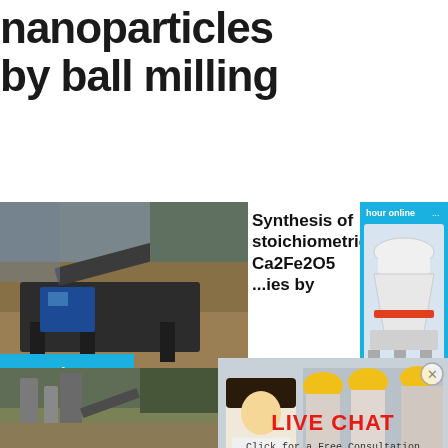nanoparticles by ball milling
[Figure (photo): Industrial mining or quarry machinery with conveyor belt and equipment in an open-pit setting]
Synthesis of stoichiometric Ca2Fe2O5 ...ies by
[Figure (photo): Live Chat popup overlay showing woman and engineers in hard hats with Chat now and Chat later buttons]
Read More
[Figure (photo): Right sidebar with cone crusher machine image, Click me to chat>> button, Enquiry button, and limingjlmofen username]
[Figure (photo): Industrial plant or cement processing facility photo]
One-sto...f zinc fe... nanopa...